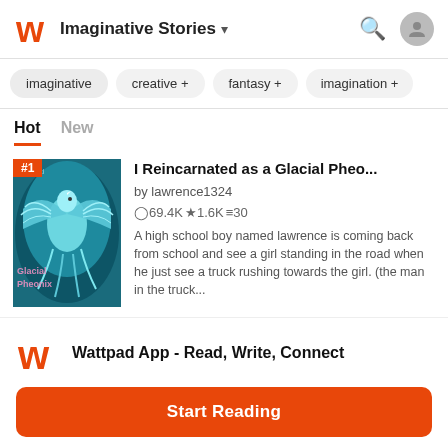Imaginative Stories
imaginative
creative +
fantasy +
imagination +
Hot   New
[Figure (illustration): Book cover for 'I Reincarnated as a Glacial Pheonix' showing a teal/blue phoenix bird]
I Reincarnated as a Glacial Pheo...
by lawrence1324
⊙69.4K ★1.6K ≡30
A high school boy named lawrence is coming back from school and see a girl standing in the road when he just see a truck rushing towards the girl. (the man in the truck...
Wattpad App - Read, Write, Connect
Start Reading
Log in with Browser